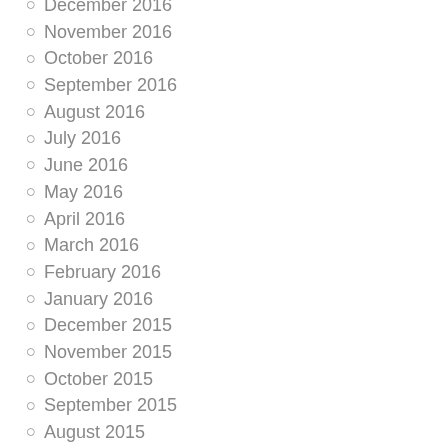December 2016
November 2016
October 2016
September 2016
August 2016
July 2016
June 2016
May 2016
April 2016
March 2016
February 2016
January 2016
December 2015
November 2015
October 2015
September 2015
August 2015
July 2015